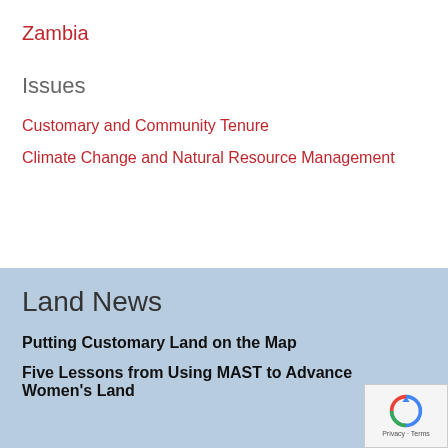Zambia
Issues
Customary and Community Tenure
Climate Change and Natural Resource Management
Land News
Putting Customary Land on the Map
Five Lessons from Using MAST to Advance Women's Land and Resource Rights